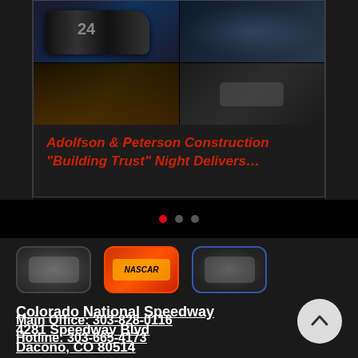[Figure (photo): NASCAR racing photo collage in a dark card — four photos in a 2x2 grid showing race cars and crowd scenes, including car #24]
Adolfson & Peterson Construction "Building Trust" Night Delivers...
[Figure (other): Carousel navigation dots — one red active dot and two grey dots]
[Figure (logo): Three sponsor/partner logos side by side — a grey badge, a red/orange badge, and a dark blue badge]
Colorado National Speedway
4281 Speedway Blvd
Dacono, CO 80514
Main Office: 303-828-0116
Hotline: 303-665-4173